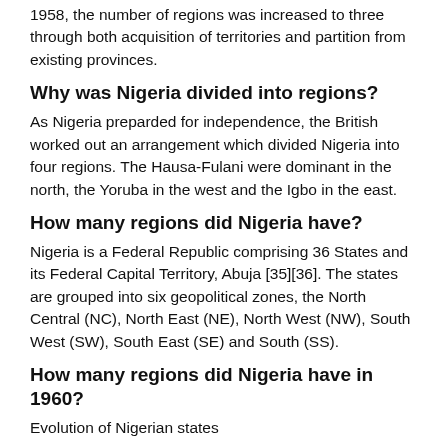1958, the number of regions was increased to three through both acquisition of territories and partition from existing provinces.
Why was Nigeria divided into regions?
As Nigeria preparded for independence, the British worked out an arrangement which divided Nigeria into four regions. The Hausa-Fulani were dominant in the north, the Yoruba in the west and the Igbo in the east.
How many regions did Nigeria have?
Nigeria is a Federal Republic comprising 36 States and its Federal Capital Territory, Abuja [35][36]. The states are grouped into six geopolitical zones, the North Central (NC), North East (NE), North West (NW), South West (SW), South East (SE) and South (SS).
How many regions did Nigeria have in 1960?
Evolution of Nigerian states